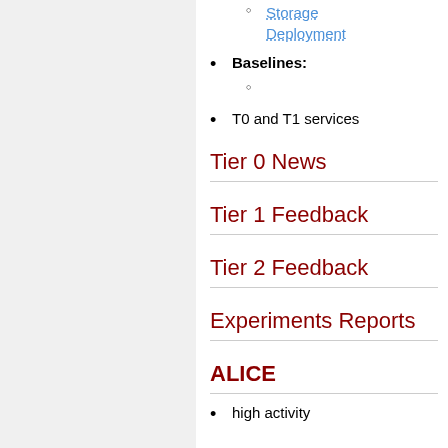Storage Deployment (links)
Baselines:
(empty sub-item)
T0 and T1 services
Tier 0 News
Tier 1 Feedback
Tier 2 Feedback
Experiments Reports
ALICE
high activity